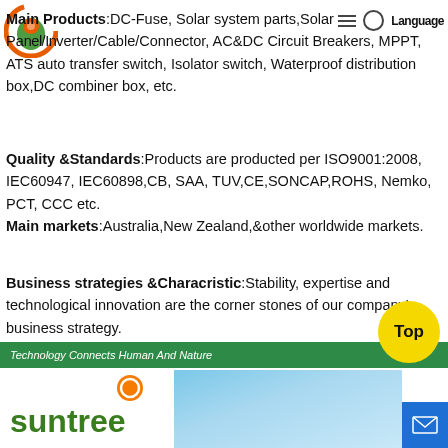[Figure (logo): Orange and green circular logo with leaf/sun design]
Main Products:DC-Fuse, Solar system parts,Solar Pa…verter/Cable/Connector, AC&DC Circuit Breakers, MPPT, ATS auto transfer switch, Isolator switch, Waterproof distribution box,DC combiner box, etc.
Quality &Standards:Products are producted per ISO9001:2008, IEC60947, IEC60898,CB, SAA, TUV,CE,SONCAP,ROHS, Nemko, PCT, CCC etc.
Main markets:Australia,New Zealand,&other worldwide markets.
Business strategies &Characristic:Stability, expertise and technological innovation are the corner stones of our company's business strategy.
We are trying to develop XinChi into a world-class Electrical manufactures
Technology Connects Human And Nature
[Figure (logo): Suntree logo with green text and orange circle icon]